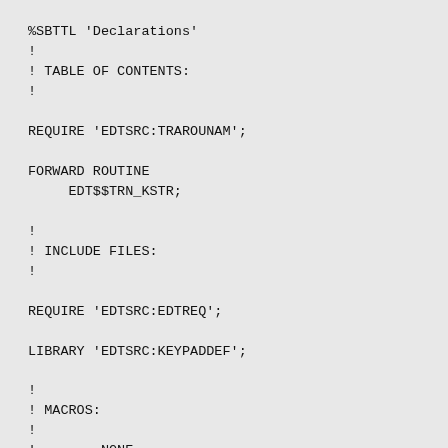%SBTTL 'Declarations'
!
! TABLE OF CONTENTS:
!

REQUIRE 'EDTSRC:TRAROUNAM';

FORWARD ROUTINE
     EDT$$TRN_KSTR;

!
! INCLUDE FILES:
!

REQUIRE 'EDTSRC:EDTREQ';

LIBRARY 'EDTSRC:KEYPADDEF';

!
! MACROS:
!
!        NONE
!
! EQUATED SYMBOLS:
!
!        NONE
!
! OWN STORAGE:
!